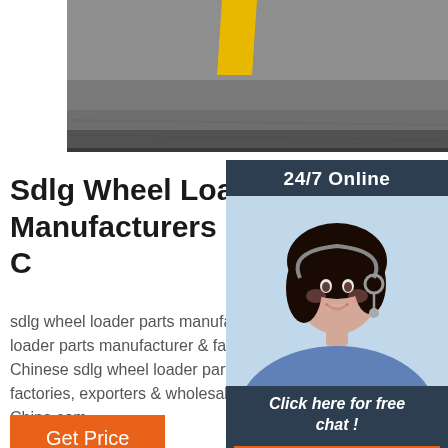[Figure (photo): Top photo strip showing industrial/construction equipment with yellow attachment, grey metallic background]
[Figure (photo): Right sidebar with dark blue-grey background showing: '24/7 Online' header, photo of smiling woman with headset, 'Click here for free chat!' text, and orange QUOTATION button]
Sdlg Wheel Loader Parts Manufacturers & Suppliers, C
sdlg wheel loader parts manufacturer/supplier, wheel loader parts manufacturer & factory list, qualified Chinese sdlg wheel loader parts man suppliers, factories, exporters & wholesalers o Made-in-China.com.
Get Price